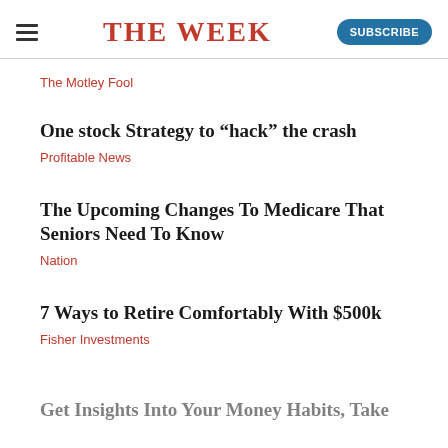THE WEEK
The Motley Fool
One stock Strategy to “hack” the crash
Profitable News
The Upcoming Changes To Medicare That Seniors Need To Know
Nation
7 Ways to Retire Comfortably With $500k
Fisher Investments
Get Insights Into Your Money Habits, Take